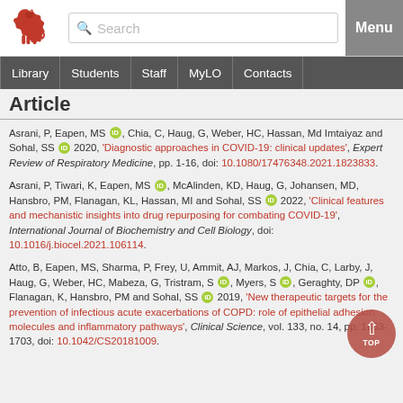[Figure (logo): Red lion heraldic logo of University of Tasmania]
Search | Menu | Library | Students | Staff | MyLO | Contacts
Article
Asrani, P, Eapen, MS [orcid], Chia, C, Haug, G, Weber, HC, Hassan, Md Imtaiyaz and Sohal, SS [orcid] 2020, 'Diagnostic approaches in COVID-19: clinical updates', Expert Review of Respiratory Medicine, pp. 1-16, doi: 10.1080/17476348.2021.1823833.
Asrani, P, Tiwari, K, Eapen, MS [orcid], McAlinden, KD, Haug, G, Johansen, MD, Hansbro, PM, Flanagan, KL, Hassan, MI and Sohal, SS [orcid] 2022, 'Clinical features and mechanistic insights into drug repurposing for combating COVID-19', International Journal of Biochemistry and Cell Biology, doi: 10.1016/j.biocel.2021.106114.
Atto, B, Eapen, MS, Sharma, P, Frey, U, Ammit, AJ, Markos, J, Chia, C, Larby, J, Haug, G, Weber, HC, Mabeza, G, Tristram, S [orcid], Myers, S [orcid], Geraghty, DP [orcid], Flanagan, K, Hansbro, PM and Sohal, SS [orcid] 2019, 'New therapeutic targets for the prevention of infectious acute exacerbations of COPD: role of epithelial adhesion molecules and inflammatory pathways', Clinical Science, vol. 133, no. 14, pp. 1663-1703, doi: 10.1042/CS20181009.